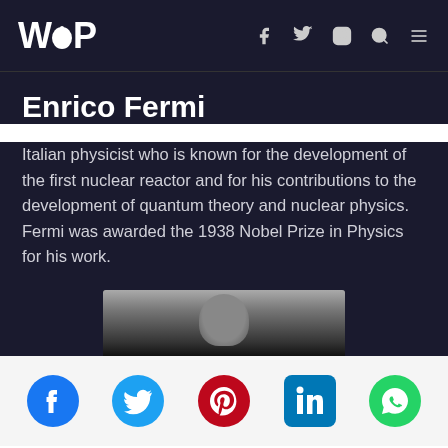WOP — navigation bar with logo and social/menu icons
Enrico Fermi
Italian physicist who is known for the development of the first nuclear reactor and for his contributions to the development of quantum theory and nuclear physics. Fermi was awarded the 1938 Nobel Prize in Physics for his work.
[Figure (photo): Black and white portrait photo of Enrico Fermi, showing top of head]
Social share icons: Facebook, Twitter, Pinterest, LinkedIn, WhatsApp